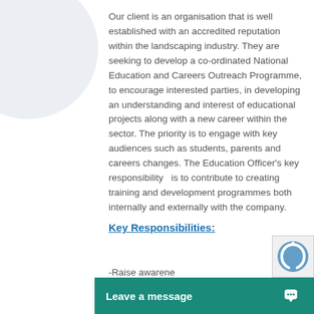Our client is an organisation that is well established with an accredited reputation within the landscaping industry. They are seeking to develop a co-ordinated National Education and Careers Outreach Programme, to encourage interested parties, in developing an understanding and interest of educational projects along with a new career within the sector. The priority is to engage with key audiences such as students, parents and careers changes. The Education Officer's key responsibility   is to contribute to creating training and development programmes both internally and externally with the company.
Key Responsibilities:
-Raise awarene...